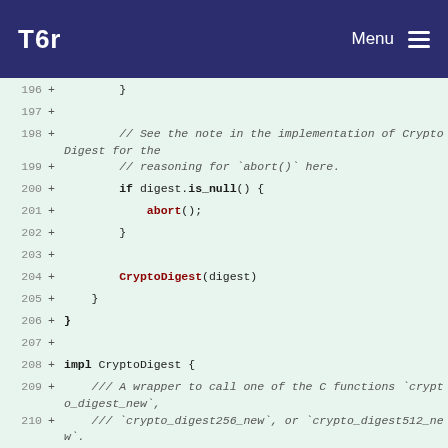Tor — Menu
[Figure (screenshot): Code diff view showing lines 196-210 of a Rust source file with additions marked by '+'. Lines include closing braces, comments about CryptoDigest implementation and abort() reasoning, an if digest.is_null() block with abort(), a CryptoDigest(digest) call, closing braces, impl CryptoDigest block, and documentation comments about C functions crypto_digest_new, crypto_digest256_new, and crypto_digest512_new.]